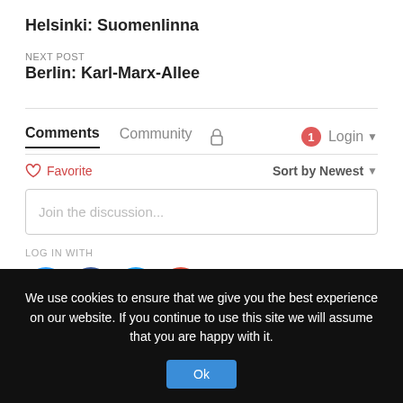Helsinki: Suomenlinna
NEXT POST
Berlin: Karl-Marx-Allee
Comments  Community  🔒  1  Login ▾
♡ Favorite   Sort by Newest ▾
Join the discussion...
LOG IN WITH
[Figure (other): Social login icons: Disqus (D), Facebook (f), Twitter (bird), Google (G)]
We use cookies to ensure that we give you the best experience on our website. If you continue to use this site we will assume that you are happy with it.
Ok